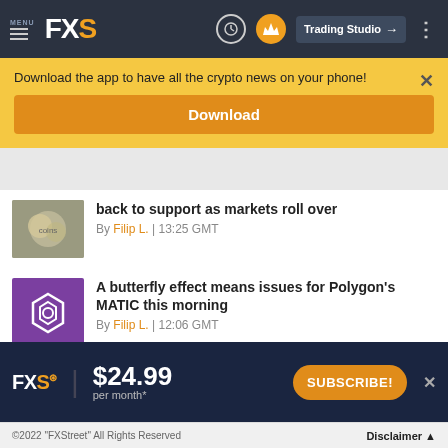MENU FXS | Trading Studio
Download the app to have all the crypto news on your phone!
Download
back to support as markets roll over — By Filip L. | 13:25 GMT
A butterfly effect means issues for Polygon's MATIC this morning — By Filip L. | 12:06 GMT
Collect FIFA moments in time with NFT launch at 2022 Qatar World Cup — By Ekta Mourya | 10:18 GMT
[Figure (screenshot): FXS ad banner: FXS logo with crown, $24.99 per month*, SUBSCRIBE! button]
©2022 "FXStreet" All Rights Reserved    Disclaimer ▲